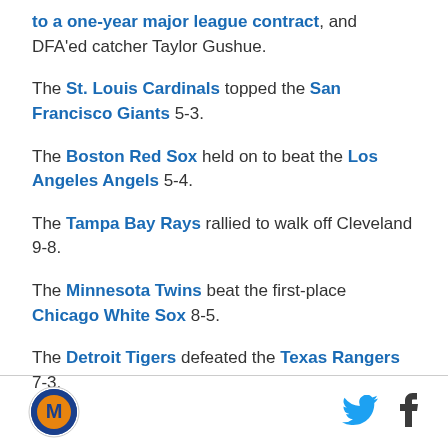to a one-year major league contract, and DFA'ed catcher Taylor Gushue.
The St. Louis Cardinals topped the San Francisco Giants 5-3.
The Boston Red Sox held on to beat the Los Angeles Angels 5-4.
The Tampa Bay Rays rallied to walk off Cleveland 9-8.
The Minnesota Twins beat the first-place Chicago White Sox 8-5.
The Detroit Tigers defeated the Texas Rangers 7-3.
[Figure (logo): MLB/sports news site circular logo with orange and blue colors]
[Figure (logo): Twitter bird icon in light blue]
[Figure (logo): Facebook f icon in dark color]